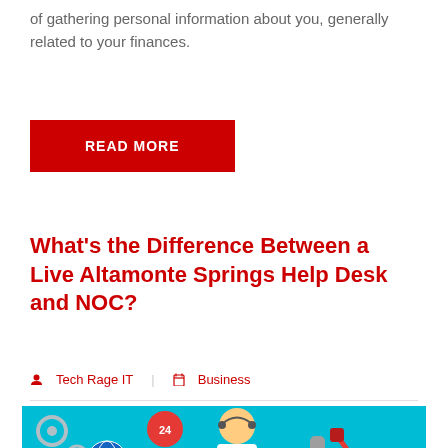of gathering personal information about you, generally related to your finances.
READ MORE
What's the Difference Between a Live Altamonte Springs Help Desk and NOC?
Tech Rage IT   Business
[Figure (illustration): Illustration of a help desk support scene with a customer service agent wearing a headset, a tablet displaying a maze/map, tools like a wrench and screwdriver, gears, a globe, a clock showing 24, and other tech support icons on a teal background.]